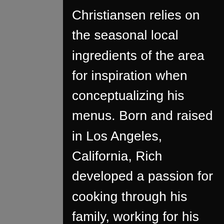Christiansen relies on the seasonal local ingredients of the area for inspiration when conceptualizing his menus. Born and raised in Los Angeles, California, Rich developed a passion for cooking through his family, working for his father in the kitchen of their family's Italian restaurant in Bel Air. He spent years as a Sous Chef and then moved up to Head Chef feeding neighborhood families, friends and local